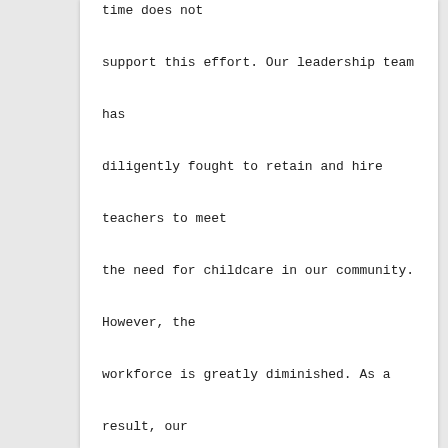time does not
support this effort. Our leadership team
has
diligently fought to retain and hire
teachers to meet
the need for childcare in our community.
However, the
workforce is greatly diminished. As a
result, our
dedicated teaching staff is becoming
overworked as
they selflessly tend to the children
entrusted to our
care. We need more teachers, but the
applicants are
minimal and far too many will schedule an
interview,
only to not show up. Hiring has always had